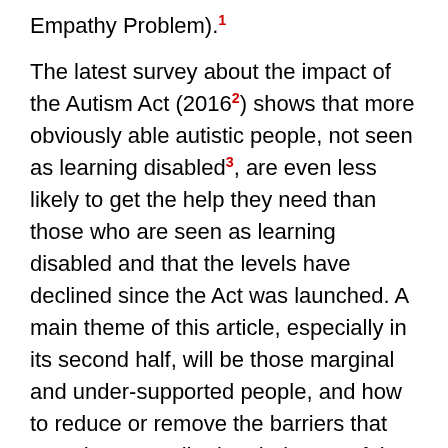Empathy Problem).1
The latest survey about the impact of the Autism Act (2016 2) shows that more obviously able autistic people, not seen as learning disabled 3, are even less likely to get the help they need than those who are seen as learning disabled and that the levels have declined since the Act was launched. A main theme of this article, especially in its second half, will be those marginal and under-supported people, and how to reduce or remove the barriers that stop them contributing their powerful focused interests to the benefit of all.
There is potential for extraordinary – atypical – levels of productiveness, resourcefulness and creativity in many autistic people when they are pursuing concerns close to their heart. As Hans Asperger put it, we tend to have “A special interest which enables [us] to achieve